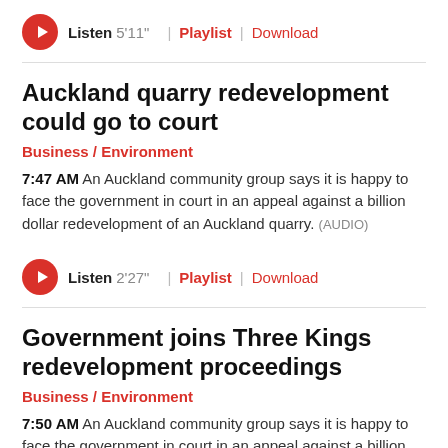[Figure (other): Audio player bar: play button, Listen 5'11", Playlist, Download]
Auckland quarry redevelopment could go to court
Business / Environment
7:47 AM An Auckland community group says it is happy to face the government in court in an appeal against a billion dollar redevelopment of an Auckland quarry. (AUDIO)
[Figure (other): Audio player bar: play button, Listen 2'27", Playlist, Download]
Government joins Three Kings redevelopment proceedings
Business / Environment
7:50 AM An Auckland community group says it is happy to face the government in court in an appeal against a billion dollar redevelopment of an Auckland quarry.